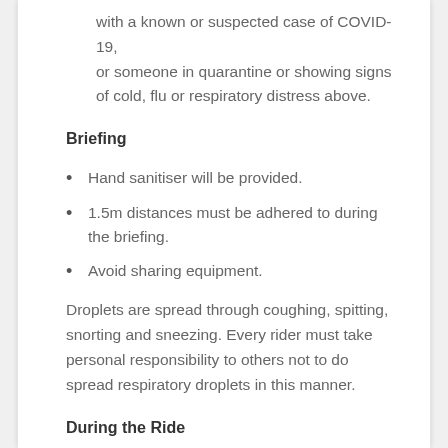with a known or suspected case of COVID-19, or someone in quarantine or showing signs of cold, flu or respiratory distress above.
Briefing
Hand sanitiser will be provided.
1.5m distances must be adhered to during the briefing.
Avoid sharing equipment.
Droplets are spread through coughing, spitting, snorting and sneezing. Every rider must take personal responsibility to others not to do spread respiratory droplets in this manner.
During the Ride